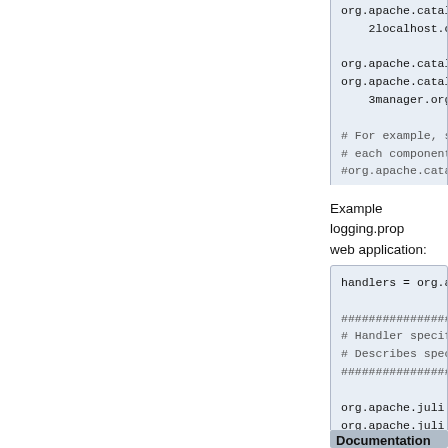org.apache.catalin...
    2localhost.org...

org.apache.catalin...
org.apache.catalin...
    3manager.org.ap...

# For example, set...
# each component t...
#org.apache.catali...
Example logging.prop... web application:
handlers = org.apa...

################...
# Handler specific...
# Describes specif...
################...

org.apache.juli.Fi...
org.apache.juli.Fi...
org.apache.juli.Fi...

java.util.logging....
java.util.logging....
Documentation refe...